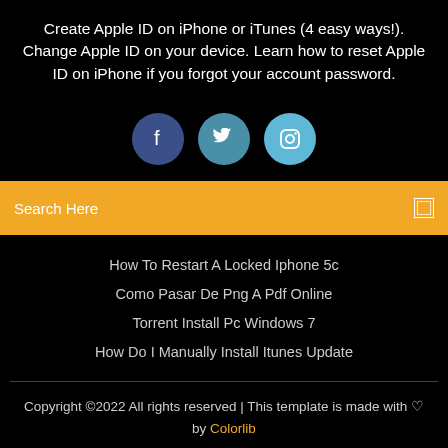Create Apple ID on iPhone or iTunes (4 easy ways!). Change Apple ID on your device. Learn how to reset Apple ID on iPhone if you forgot your account password.
[Figure (illustration): Three social media icon circles: Facebook (dark blue), Twitter (medium blue), Instagram (light blue)]
Search Here
How To Restart A Locked Iphone 5c
Como Pasar De Png A Pdf Online
Torrent Install Pc Windows 7
How Do I Manually Install Itunes Update
Copyright ©2022 All rights reserved | This template is made with ♡ by Colorlib